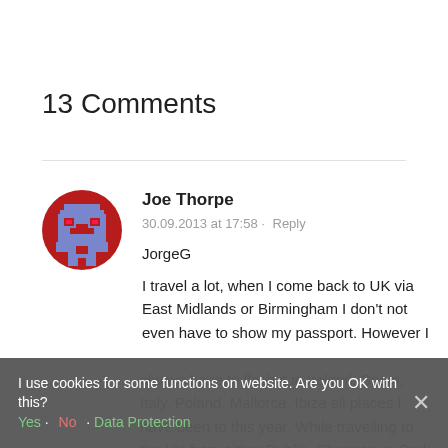13 Comments
[Figure (illustration): Pixelated avatar icon — red circle background with blue/purple robot-like pixel art character]
Joe Thorpe
30.09.2013 at 17:58 · Reply
JorgeG
I travel a lot, when I come back to UK via East Midlands or Birmingham I don't not even have to show my passport. However I always have to flash it in Ireland, Spain, Italy, Poland, Mallorca, Ibiza all places I have been to this year. While travelling to the UK from either Dublin, Shannon or Cork
I use cookies for some functions on website. Are you OK with this? Yes · No · Data Protection